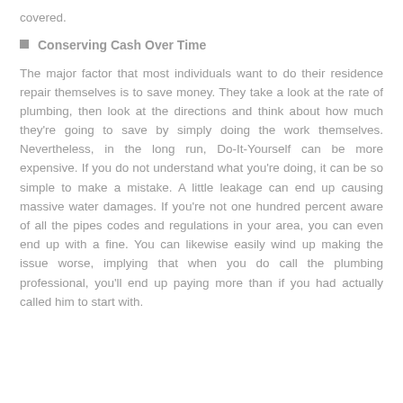covered.
Conserving Cash Over Time
The major factor that most individuals want to do their residence repair themselves is to save money. They take a look at the rate of plumbing, then look at the directions and think about how much they're going to save by simply doing the work themselves. Nevertheless, in the long run, Do-It-Yourself can be more expensive. If you do not understand what you're doing, it can be so simple to make a mistake. A little leakage can end up causing massive water damages. If you're not one hundred percent aware of all the pipes codes and regulations in your area, you can even end up with a fine. You can likewise easily wind up making the issue worse, implying that when you do call the plumbing professional, you'll end up paying more than if you had actually called him to start with.